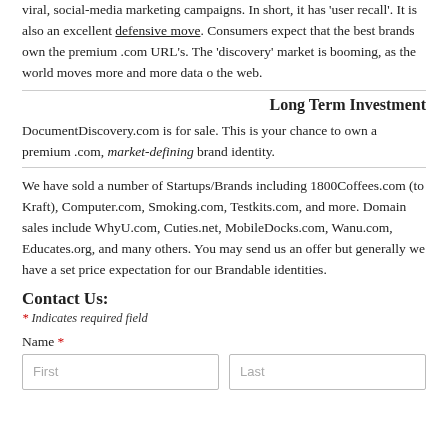viral, social-media marketing campaigns.  In short, it has 'user recall'. It is also an excellent defensive move.  Consumers expect that the best brands own the premium .com URL's.  The 'discovery' market is booming, as the world moves more and more data o the web.
Long Term Investment
DocumentDiscovery.com is for sale.  This is your chance to own a premium .com, market-defining brand identity.
We have sold a number of Startups/Brands including 1800Coffees.com (to Kraft), Computer.com, Smoking.com, Testkits.com, and more.  Domain sales include WhyU.com, Cuties.net, MobileDocks.com, Wanu.com, Educates.org, and many others.  You may send us an offer but generally we have a set price expectation for our Brandable identities.
Contact Us:
* Indicates required field
Name *
First | Last